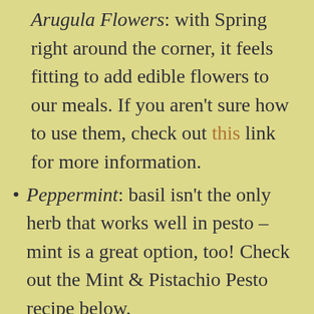Arugula Flowers: with Spring right around the corner, it feels fitting to add edible flowers to our meals. If you aren't sure how to use them, check out this link for more information.
Peppermint: basil isn't the only herb that works well in pesto – mint is a great option, too! Check out the Mint & Pistachio Pesto recipe below.
Chickweed: there are lots of chickweed pesto and salad recipes out there but if you want something a bit different, try this Chickweed [recipe continues...]